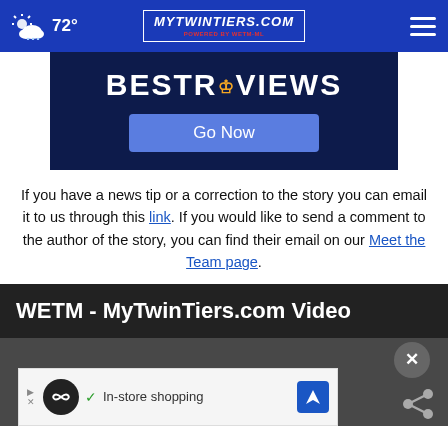72° MyTwinTiers.com - navigation bar
[Figure (screenshot): BestReviews advertisement banner with dark navy background, large white bold text 'BESTREVIEWS' with a crown icon, and a blue 'Go Now' button]
If you have a news tip or a correction to the story you can email it to us through this link. If you would like to send a comment to the author of the story, you can find their email on our Meet the Team page.
WETM - MyTwinTiers.com Video
[Figure (screenshot): Video player area with dark background, close button (X) in circle, share icon, and bottom advertisement bar showing in-store shopping ad with circular logo and blue arrow icon]